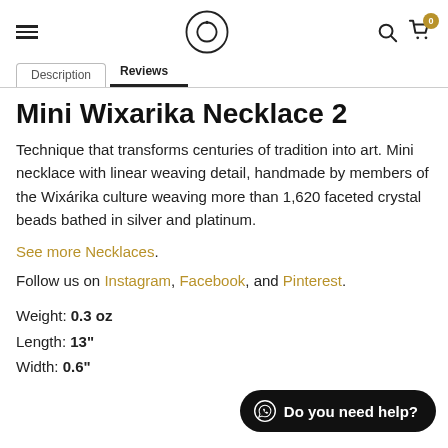Mini Wixarika Necklace 2 — product page header with navigation icons
Mini Wixarika Necklace 2
Technique that transforms centuries of tradition into art. Mini necklace with linear weaving detail, handmade by members of the Wixárika culture weaving more than 1,620 faceted crystal beads bathed in silver and platinum.
See more Necklaces.
Follow us on Instagram, Facebook, and Pinterest.
Weight: 0.3 oz
Length: 13"
Width: 0.6"